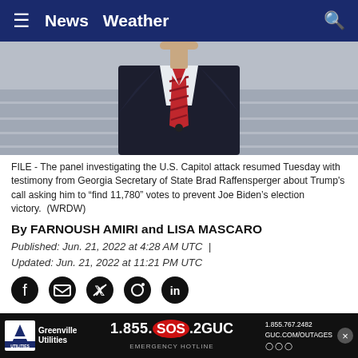News  Weather
[Figure (photo): Man in dark suit with red striped tie, photo cropped at torso, marble steps background]
FILE - The panel investigating the U.S. Capitol attack resumed Tuesday with testimony from Georgia Secretary of State Brad Raffensperger about Trump's call asking him to "find 11,780" votes to prevent Joe Biden's election victory.  (WRDW)
By FARNOUSH AMIRI and LISA MASCARO
Published: Jun. 21, 2022 at 4:28 AM UTC  |
Updated: Jun. 21, 2022 at 11:21 PM UTC
[Figure (infographic): Social media share icons: Facebook, Email, Twitter, Pinterest, LinkedIn]
WASHINGTON (AP) — The House 1/6 committee heard chilling ... who's relentle...